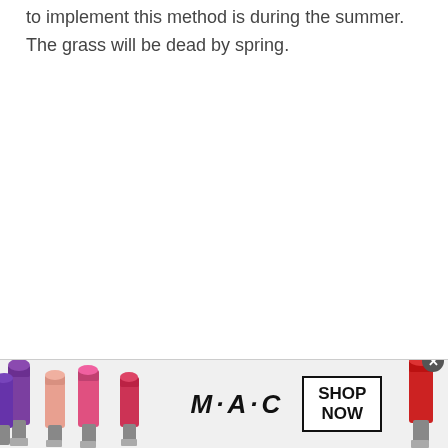to implement this method is during the summer. The grass will be dead by spring.
[Figure (illustration): MAC Cosmetics advertisement banner showing colorful lipsticks on left and right sides, MAC logo in center-left, and a 'SHOP NOW' box on center-right, with a close (X) button in the top-right corner of the ad.]